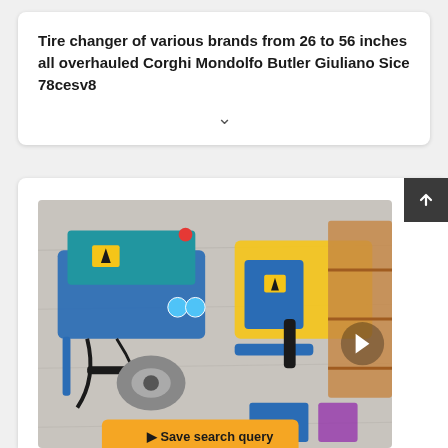Tire changer of various brands from 26 to 56 inches all overhauled Corghi Mondolfo Butler Giuliano Sice 78cesv8
[Figure (photo): Photograph of blue and yellow tire changer machines with mechanical arms and components, viewed from above on a concrete surface. An orange 'Save search query' button overlaid at the bottom, and a right navigation arrow on the right side.]